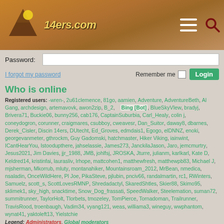[Figure (screenshot): 14ers.com website header with mountain logo, hamburger menu, and search icon]
Password:
I forgot my password  Remember me  Login
Who is online
Registered users: -wren-, 2u61clemence, 81go, aamien, Adventure, AdventureBeth, Al Gang, archdesign, artemavovk, awon2zip, B_2, Bing [Bot], BlueSkyVIew, bradyj, Brivera71, Buckie06, bunny256, cab176, CaptainSuburbia, Carl_Healy, colin j, coneydogron, corunner, craigmares, csubboy, cweavesr, Dan_Suitor, daway8, dbarnes, Derek_Cisler, Discin 14ers, DUtecht, Ed_Groves, edmdais1, Egogo, elDNNZ, enoki, georgevanmeter, gthrockm, Guy Gadomski, hatchmaster, Hiker Viking, iainwint, ICantHearYou, Istoodupthere, jahselassie, James273, JanckilaJason, Jaro, jemcmurtry, Jesus2021, Jim Davies, jjr_1988, JMB, johlfsj, JROSKA, Jturre, julianm, karlkarl, Kate D, Keldred14, kristinfai, laurasliv, lrhope, mattcohen1, matthewfresh, matthewpb83, Michael J, mjsherman, Mkorrub, mluty, montanahiker, Mountainsroam_2012, MrBean, nmedica, nsaladin, OnceWildHere, Pl Joe, PikaSteve, pjlubin, pnciv66, randalmartin, rc1, RWinters, Samuelz, scott_s, ScottLovesRMNP, Shredadactyl, SkaredShtles, Skier88, Skimo95, sklimek1, sky_high, snacktime, Snow_Dog_frassati, SpeedWalker, Steelemation, suman72, summitrunner, TaylorHolt, Tlorbets, tmozeley, TomPierce, Tornadoman, Trailrunner, TravisRood, troenbaugh, Vadim34, vyang121, weas, williama3, wineguy, wwphantom, wynat41, yaktoleft13, Yielstchie
Legend: Administrators, Global moderators
Statistics
Total posts 243590 • Total topics 17478 • Total members 111744 • Our newest member